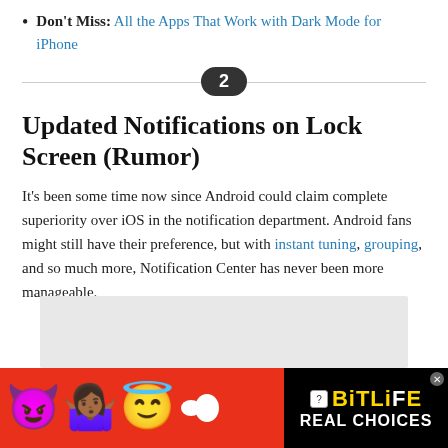Don't Miss: All the Apps That Work with Dark Mode for iPhone
2
Updated Notifications on Lock Screen (Rumor)
It's been some time now since Android could claim complete superiority over iOS in the notification department. Android fans might still have their preference, but with instant tuning, grouping, and so much more, Notification Center has never been more manageable.
[Figure (other): Gray placeholder advertisement box]
[Figure (other): BitLife advertisement banner with emoji characters and REAL CHOICES text on red background]